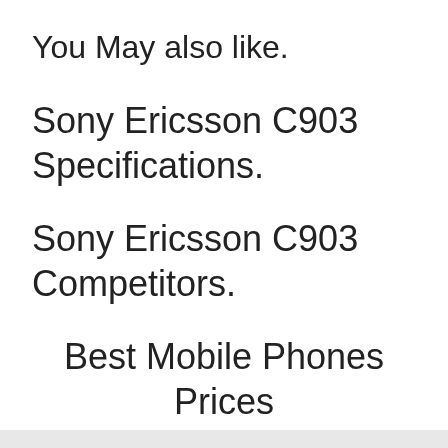You May also like.
Sony Ericsson C903 Specifications.
Sony Ericsson C903 Competitors.
Best Mobile Phones Prices in Lebanon - 2021